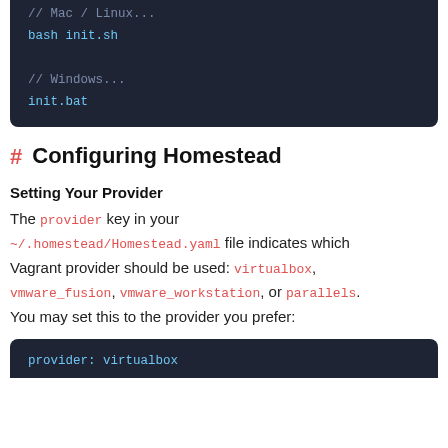[Figure (screenshot): Dark code block showing Mac/Linux and Windows shell commands: '// Mac / Linux...' comment, 'bash init.sh' command, '// Windows...' comment, 'init.bat' command]
# Configuring Homestead
Setting Your Provider
The provider key in your ~/.homestead/Homestead.yaml file indicates which Vagrant provider should be used: virtualbox, vmware_fusion, vmware_workstation, or parallels. You may set this to the provider you prefer:
[Figure (screenshot): Dark code block (partially visible at bottom) showing provider: virtualbox]